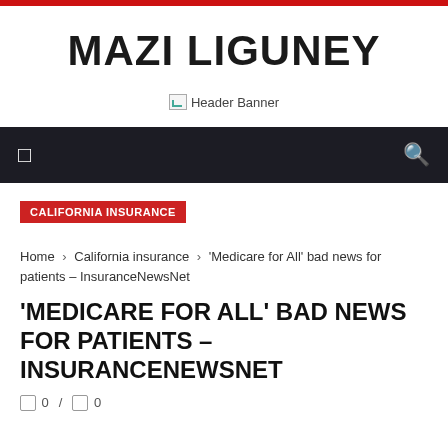MAZI LIGUNEY
[Figure (other): Header Banner placeholder image]
☰   🔍
CALIFORNIA INSURANCE
Home › California insurance › 'Medicare for All' bad news for patients – InsuranceNewsNet
'MEDICARE FOR ALL' BAD NEWS FOR PATIENTS – INSURANCENEWSNET
0   0